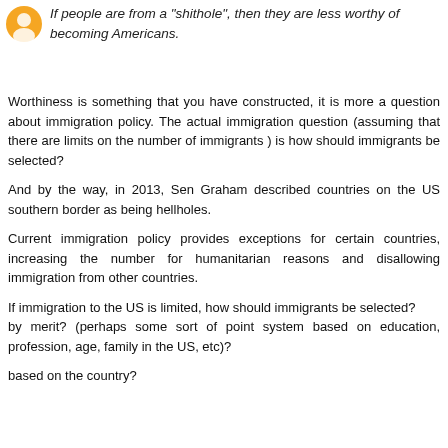[Figure (illustration): Orange circular avatar icon]
If people are from a "shithole", then they are less worthy of becoming Americans.
Worthiness is something that you have constructed, it is more a question about immigration policy. The actual immigration question (assuming that there are limits on the number of immigrants ) is how should immigrants be selected?
And by the way, in 2013, Sen Graham described countries on the US southern border as being hellholes.
Current immigration policy provides exceptions for certain countries, increasing the number for humanitarian reasons and disallowing immigration from other countries.
If immigration to the US is limited, how should immigrants be selected?
by merit? (perhaps some sort of point system based on education, profession, age, family in the US, etc)?
based on the country?